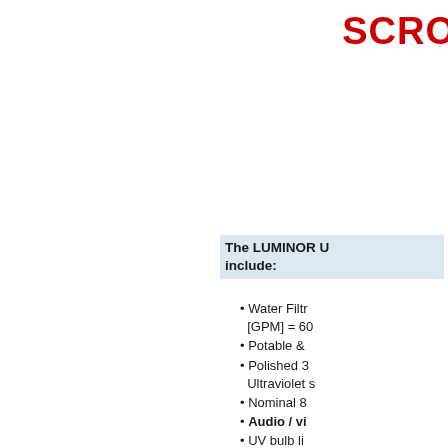SCRO
The LUMINOR U include:
Water Filtr [GPM] = 60
Potable &
Polished 3 Ultraviolet s
Nominal 8
Audio / vi
UV bulb li
No tools r
Easy-serv